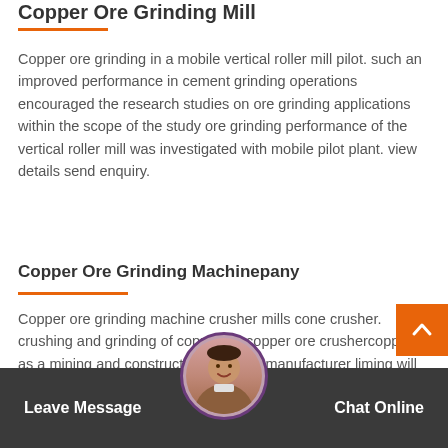Copper Ore Grinding Mill
Copper ore grinding in a mobile vertical roller mill pilot. such an improved performance in cement grinding operations encouraged the research studies on ore grinding applications within the scope of the study ore grinding performance of the vertical roller mill was investigated with mobile pilot plant. view details send enquiry.
Copper Ore Grinding Machinepany
Copper ore grinding machine crusher mills cone crusher. crushing and grinding of copper orecopper ore crushercopper as a mining and construction machine manufacturer liming will provide buyers the high quality crushing and grinding machines of copper ore. view details send enquiry ce copper ore grinding millcopper
Leave Message   Chat Online